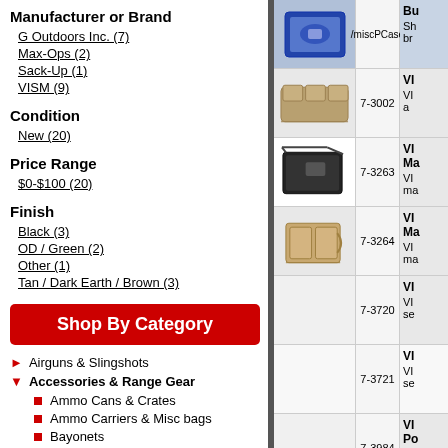Manufacturer or Brand
G Outdoors Inc. (7)
Max-Ops (2)
Sack-Up (1)
VISM (9)
Condition
New (20)
Price Range
$0-$100 (20)
Finish
Black (3)
OD / Green (2)
Other (1)
Tan / Dark Earth / Brown (3)
Shop By Category
Airguns & Slingshots
Accessories & Range Gear
Ammo Cans & Crates
Ammo Carriers & Misc bags
Bayonets
Bipods & Monopods
Chronographs
| Image | SKU | Description |
| --- | --- | --- |
| [image] | /miscPCase | Bu... Sh... br... |
| [tan rifle bag] | 7-3002 | VI... a... |
| [black bag] | 7-3263 | VI... Ma... VI... ma... |
| [tan bag] | 7-3264 | VI... Ma... VI... ma... |
| [no image] | 7-3720 | VI... VI... se... |
| [no image] | 7-3721 | VI... VI... se... |
| [no image] | 7-3984 | VI... Po... VI... |